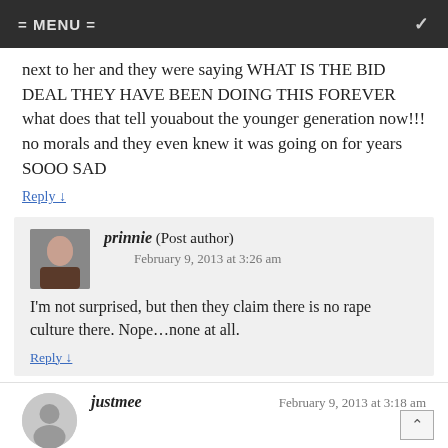= MENU =
next to her and they were saying WHAT IS THE BID DEAL THEY HAVE BEEN DOING THIS FOREVER what does that tell youabout the younger generation now!!! no morals and they even knew it was going on for years SOOO SAD
Reply ↓
prinnie (Post author) February 9, 2013 at 3:26 am — I'm not surprised, but then they claim there is no rape culture there. Nope…none at all. Reply ↓
justmee February 9, 2013 at 3:18 am
So tired of people trying to blame this on prinnie and tryin to bring up dirt on her HELLO thank her for bringing this all